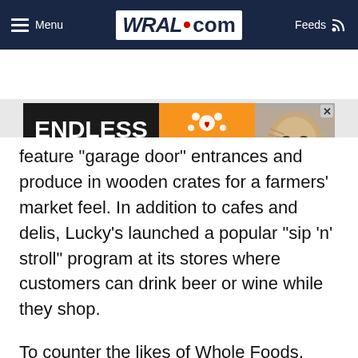Menu  WRAL.com  Feeds
[Figure (other): SPCA of Wake County advertisement banner reading 'ENDLESS PURRING' with SPCA logo and a cat photo]
feature "garage door" entrances and produce in wooden crates for a farmers' market feel. In addition to cafes and delis, Lucky's launched a popular "sip 'n' stroll" program at its stores where customers can drink beer or wine while they shop.
To counter the likes of Whole Foods, which earned a reputation for exorbitant prices and the undesirable moniker "Whole